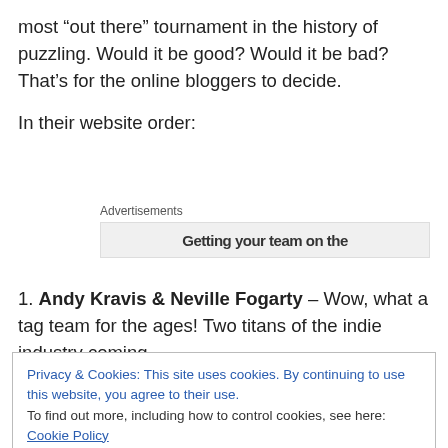most “out there” tournament in the history of puzzling. Would it be good? Would it be bad? That’s for the online bloggers to decide.
In their website order:
[Figure (other): Advertisements box with partially visible text 'Getting your team on the']
1. Andy Kravis & Neville Fogarty – Wow, what a tag team for the ages! Two titans of the indie industry coming
Privacy & Cookies: This site uses cookies. By continuing to use this website, you agree to their use.
To find out more, including how to control cookies, see here: Cookie Policy
GWU’s extensive library, these organizers were able to